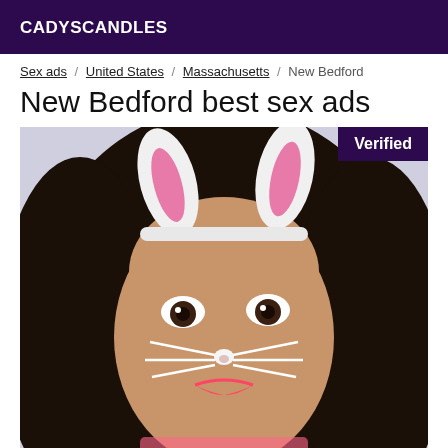CADYSCANDLES
Sex ads / United States / Massachusetts / New Bedford
New Bedford best sex ads
[Figure (photo): A woman with dark hair wearing a bunny ears headband and a Snapchat cat/bunny face filter showing whiskers and a small nose, with bright pink lipstick. A 'Verified' badge appears in the top right corner of the image.]